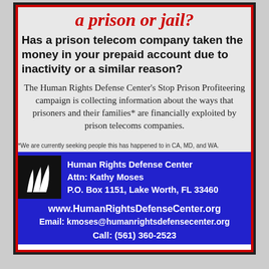a prison or jail?
Has a prison telecom company taken the money in your prepaid account due to inactivity or a similar reason?
The Human Rights Defense Center's Stop Prison Profiteering campaign is collecting information about the ways that prisoners and their families* are financially exploited by prison telecoms companies.
*We are currently seeking people this has happened to in CA, MD, and WA.
Human Rights Defense Center
Attn: Kathy Moses
P.O. Box 1151, Lake Worth, FL 33460
www.HumanRightsDefenseCenter.org
Email: kmoses@humanrightsdefensecenter.org
Call: (561) 360-2523